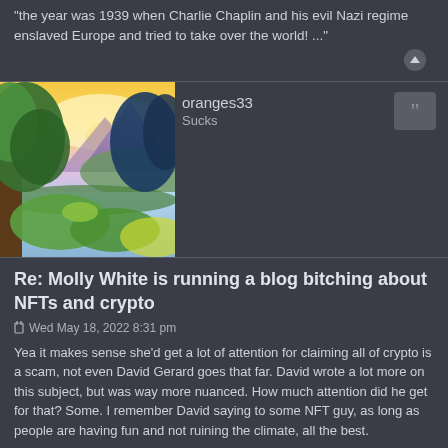"the year was 1939 when Charlie Chaplin and his evil Nazi regime enslaved Europe and tried to take over the world! ..."
[Figure (illustration): Colorful fantasy landscape painting with trees, water, and glowing sky — used as a user avatar image]
oranges33
Sucks
Re: Molly White is running a blog bitching about NFTs and crypto
Wed May 18, 2022 8:31 pm
Yea it makes sense she'd get a lot of attention for claiming all of crypto is a scam, not even David Gerard goes that far. David wrote a lot more on this subject, but was way more nuanced. How much attention did he get for that? Some. I remember David saying to some NFT guy, as long as people are having fun and not ruining the climate, all the best.
I've found limited use of crypto for international payments and also as a